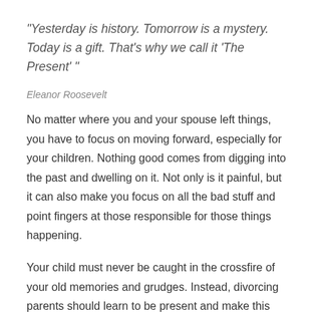“Yesterday is history. Tomorrow is a mystery. Today is a gift. That’s why we call it ‘The Present’ ”
Eleanor Roosevelt
No matter where you and your spouse left things, you have to focus on moving forward, especially for your children. Nothing good comes from digging into the past and dwelling on it. Not only is it painful, but it can also make you focus on all the bad stuff and point fingers at those responsible for those things happening.
Your child must never be caught in the crossfire of your old memories and grudges. Instead, divorcing parents should learn to be present and make this present work